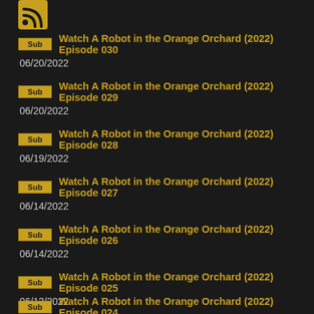[Figure (logo): Orange/yellow RSS-style feed icon with two curved lines on dark background]
Sub  Watch A Robot in the Orange Orchard (2022) Episode 030
06/20/2022
Sub  Watch A Robot in the Orange Orchard (2022) Episode 029
06/20/2022
Sub  Watch A Robot in the Orange Orchard (2022) Episode 028
06/19/2022
Sub  Watch A Robot in the Orange Orchard (2022) Episode 027
06/14/2022
Sub  Watch A Robot in the Orange Orchard (2022) Episode 026
06/14/2022
Sub  Watch A Robot in the Orange Orchard (2022) Episode 025
06/13/2022
Sub  Watch A Robot in the Orange Orchard (2022) Episode 024